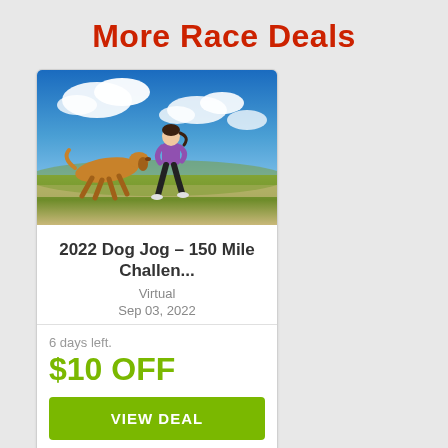More Race Deals
[Figure (photo): Woman running with a golden dog on a road with blue sky and clouds in the background]
2022 Dog Jog – 150 Mile Challen...
Virtual
Sep 03, 2022
6 days left.
$10 OFF
VIEW DEAL